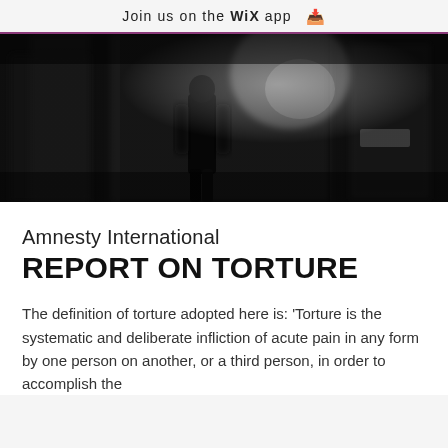Join us on the WiX app ↓
[Figure (photo): Black and white blurred photograph showing a silhouetted figure walking through a corridor or between large structures, high contrast with dramatic shadows]
Amnesty International
REPORT ON TORTURE
The definition of torture adopted here is: 'Torture is the systematic and deliberate infliction of acute pain in any form by one person on another, or a third person, in order to accomplish the